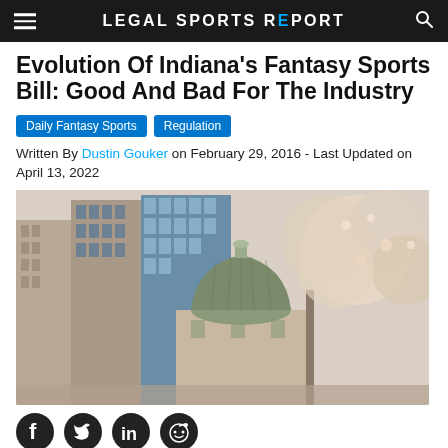LEGAL SPORTS REPORT
Evolution Of Indiana's Fantasy Sports Bill: Good And Bad For The Industry
Daily Fantasy Sports | Regulation
Written By Dustin Gouker on February 29, 2016 - Last Updated on April 13, 2022
[Figure (photo): Photograph of the Indiana State Capitol building dome with cherry blossom trees and city skyscrapers in the background]
[Figure (infographic): Social media sharing icons: Facebook, Twitter, LinkedIn, Reddit]